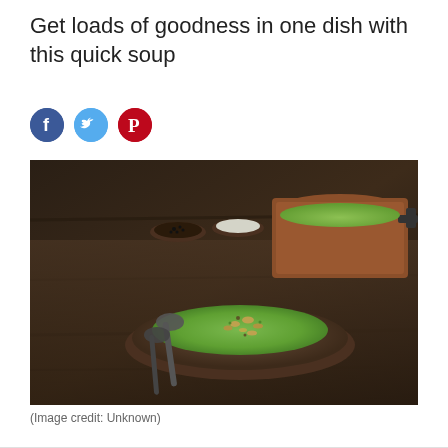Get loads of goodness in one dish with this quick soup
[Figure (other): Three social media sharing icons: Facebook (blue circle with f), Twitter (light blue circle with bird), Pinterest (red circle with P)]
[Figure (photo): A bowl of green soup topped with nuts/seeds on a dark wooden table, with two spoons to the left, small bowls of black pepper and salt in the background, and a copper pot of green soup in the upper right corner.]
(Image credit: Unknown)